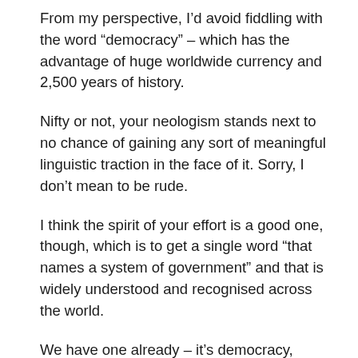From my perspective, I’d avoid fiddling with the word “democracy” – which has the advantage of huge worldwide currency and 2,500 years of history.
Nifty or not, your neologism stands next to no chance of gaining any sort of meaningful linguistic traction in the face of it. Sorry, I don’t mean to be rude.
I think the spirit of your effort is a good one, though, which is to get a single word “that names a system of government” and that is widely understood and recognised across the world.
We have one already – it’s democracy, which sits with Aristotle’s five other systems of government namely polity, aristocracy, monar…